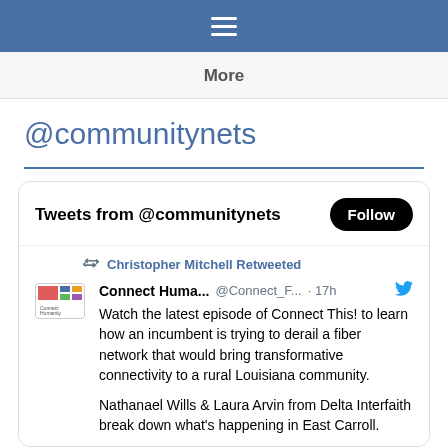≡
More
@communitynets
Tweets from @communitynets  Follow
Christopher Mitchell Retweeted
Connect Huma... @Connect_F... · 17h  Watch the latest episode of Connect This! to learn how an incumbent is trying to derail a fiber network that would bring transformative connectivity to a rural Louisiana community.

Nathanael Wills & Laura Arvin from Delta Interfaith break down what's happening in East Carroll.